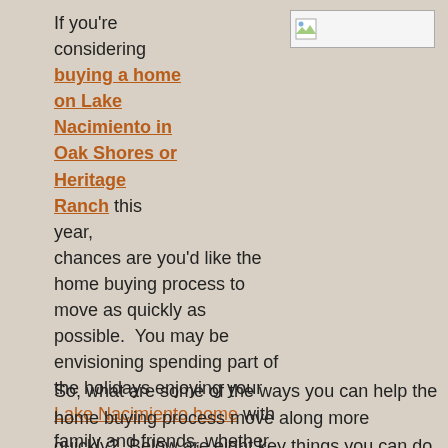If you're considering buying a home on Lake Nacimiento in Oak Shores or Heritage Ranch this year, chances are you'd like the home buying process to move as quickly as possible. You may be envisioning spending part of the holidays enjoying your Lake Nacimiento home with family and friends, whether it's a permanent residence or just a weekend getaway.
[Figure (photo): Broken image placeholder in top right area]
So, what are some of the ways you can help the home buying process move along more quickly? Below are eight key things you can do that will help speed up the process and have you